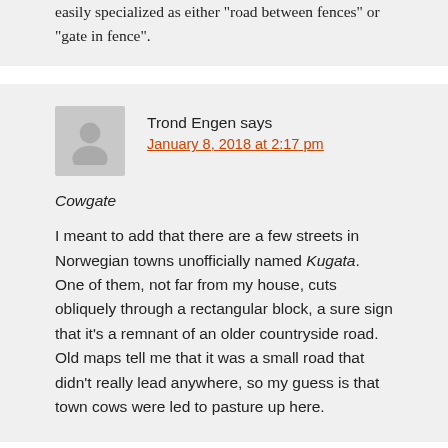easily specialized as either "road between fences" or "gate in fence".
Trond Engen says
January 8, 2018 at 2:17 pm
Cowgate
I meant to add that there are a few streets in Norwegian towns unofficially named Kugata. One of them, not far from my house, cuts obliquely through a rectangular block, a sure sign that it's a remnant of an older countryside road. Old maps tell me that it was a small road that didn't really lead anywhere, so my guess is that town cows were led to pasture up here.